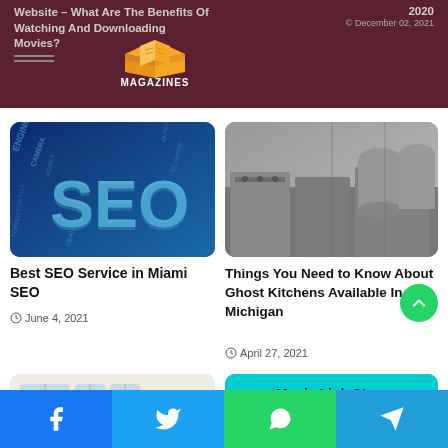Website – What Are The Benefits Of Watching And Downloading Movies? | 2020
[Figure (logo): Magazines Zony logo with orange book icon]
[Figure (photo): SEO word cloud image with large blue 3D text 'SEO' surrounded by keywords like ENGINE, SEARCH, QUALITY, KEYWORD, CONTENT]
Best SEO Service in Miami SEO
June 4, 2021
[Figure (photo): Industrial ghost kitchen interior with stainless steel equipment and large tanks]
Things You Need to Know About Ghost Kitchens Available In Michigan
April 27, 2021
[Figure (photo): Room interior with thermal imaging camera showing heat distribution]
[Figure (infographic): Movie Link Store graphic with red cloud and download arrow on teal background]
Facebook | Twitter | WhatsApp | Telegram social share bar